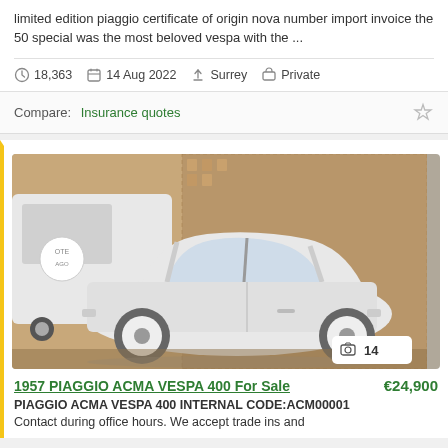limited edition piaggio certificate of origin nova number import invoice the 50 special was the most beloved vespa with the ...
18,363   14 Aug 2022   Surrey   Private
Compare:  Insurance quotes
[Figure (photo): White vintage small car (1957 Piaggio ACMA Vespa 400) parked in front of a wicker/rattan textured wall background. Photo badge shows 14 photos.]
1957 PIAGGIO ACMA VESPA 400 For Sale   €24,900
PIAGGIO ACMA VESPA 400 INTERNAL CODE:ACM00001
Contact during office hours. We accept trade ins and